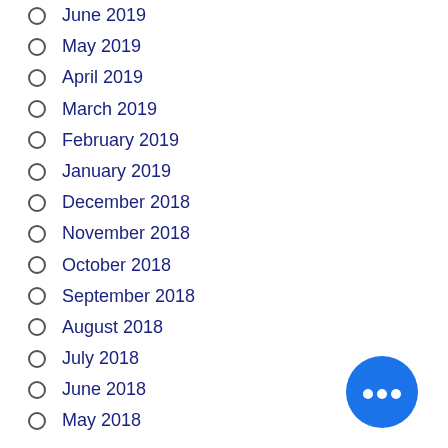June 2019
May 2019
April 2019
March 2019
February 2019
January 2019
December 2018
November 2018
October 2018
September 2018
August 2018
July 2018
June 2018
May 2018
Categories
Acura
Acura ILX
Acura Integra
Acura MDX
Acura NSX
Acura of Maui